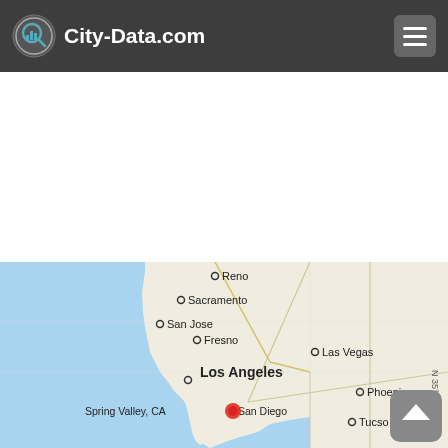City-Data.com
[Figure (map): Map of Southern California and surrounding region showing cities: Reno, Sacramento, San Jose, Fresno, Las Vegas, Los Angeles, Spring Valley CA, San Diego, Phoenix, Tucson. A red dot marks Spring Valley, CA near San Diego.]